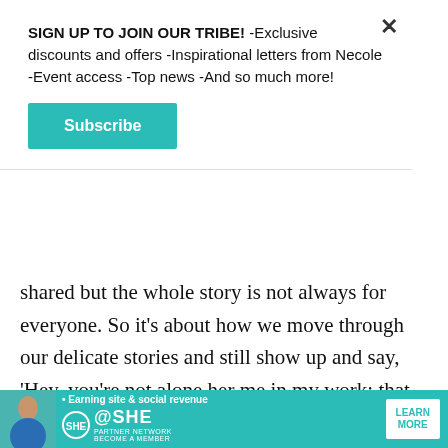SIGN UP TO JOIN OUR TRIBE! -Exclusive discounts and offers -Inspirational letters from Necole -Event access -Top news -And so much more!
[Figure (other): Teal 'Subscribe' button]
shared but the whole story is not always for everyone. So it's about how we move through our delicate stories and still show up and say, 'Hey, you're not alone her me in my work: that alone.
[Figure (screenshot): Video ad overlay with 'Loading ad' text, spinner icon, and playback controls (pause, fullscreen, mute) on black background]
I hear so often that
[Figure (other): SHE Media partner network banner advertisement with teal background, woman photo, tagline 'Earning site & social revenue', SHE logo, and 'LEARN MORE' button]